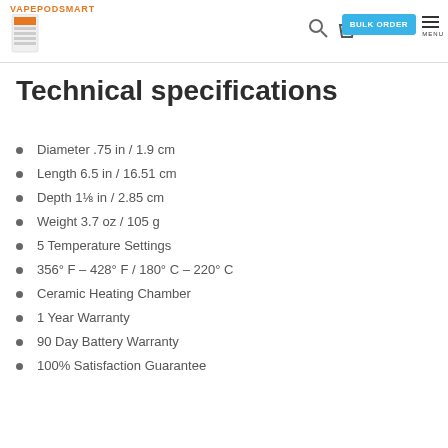VAPEPODSMART
Technical specifications
Diameter .75 in / 1.9 cm
Length 6.5 in / 16.51 cm
Depth 1⅛ in / 2.85 cm
Weight 3.7 oz / 105 g
5 Temperature Settings
356° F – 428° F / 180° C – 220° C
Ceramic Heating Chamber
1 Year Warranty
90 Day Battery Warranty
100% Satisfaction Guarantee